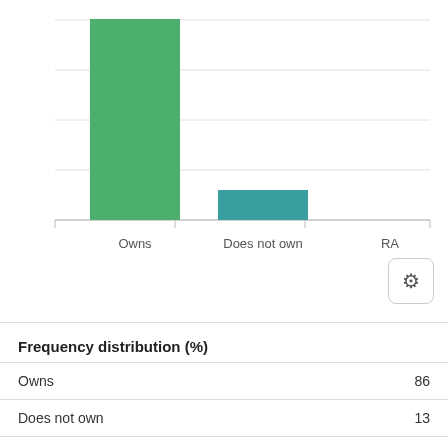[Figure (bar-chart): ]
|  |  |
| --- | --- |
| Owns | 86 |
| Does not own | 13 |
| RA | 0 |
Frequency distribution (%)
OWNCOTV: HH owns - Color television
Question text: Now I will read you a series of household items...